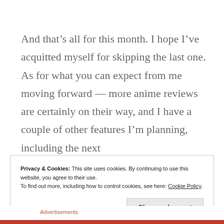And that's all for this month. I hope I've acquitted myself for skipping the last one. As for what you can expect from me moving forward — more anime reviews are certainly on their way, and I have a couple of other features I'm planning, including the next
Privacy & Cookies: This site uses cookies. By continuing to use this website, you agree to their use.
To find out more, including how to control cookies, see here: Cookie Policy
Close and accept
Advertisements